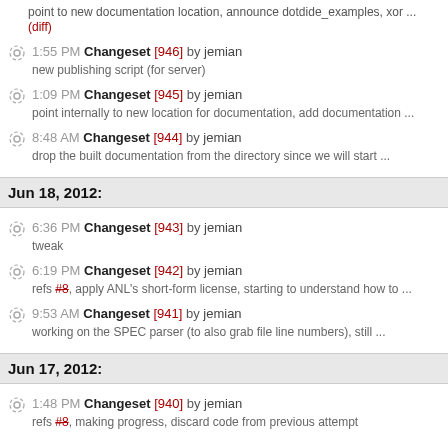point to new documentation location, announce dotdide_examples, xor ... (diff)
1:55 PM Changeset [946] by jemian — new publishing script (for server)
1:09 PM Changeset [945] by jemian — point internally to new location for documentation, add documentation ...
8:48 AM Changeset [944] by jemian — drop the built documentation from the directory since we will start ...
Jun 18, 2012:
6:36 PM Changeset [943] by jemian — tweak
6:19 PM Changeset [942] by jemian — refs #8, apply ANL's short-form license, starting to understand how to ...
9:53 AM Changeset [941] by jemian — working on the SPEC parser (to also grab file line numbers), still ...
Jun 17, 2012:
1:48 PM Changeset [940] by jemian — refs #8, making progress, discard code from previous attempt